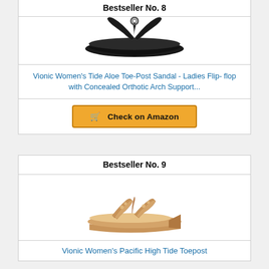Bestseller No. 8
[Figure (photo): Black Vionic Women's Tide Aloe Toe-Post flip-flop sandal viewed from side]
Vionic Women's Tide Aloe Toe-Post Sandal - Ladies Flip- flop with Concealed Orthotic Arch Support...
Check on Amazon
Bestseller No. 9
[Figure (photo): Tan/rose gold Vionic Women's Pacific High Tide Toepost wedge sandal viewed from side]
Vionic Women's Pacific High Tide Toepost